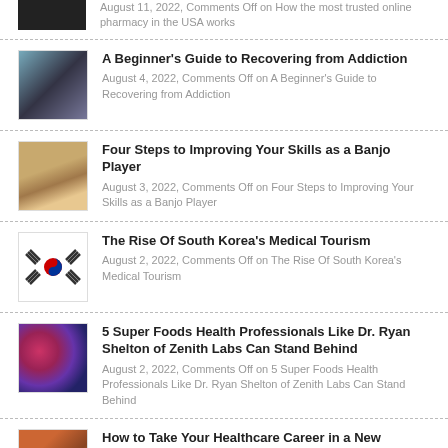August 11, 2022, Comments Off on How the most trusted online pharmacy in the USA works
A Beginner's Guide to Recovering from Addiction — August 4, 2022, Comments Off on A Beginner's Guide to Recovering from Addiction
Four Steps to Improving Your Skills as a Banjo Player — August 3, 2022, Comments Off on Four Steps to Improving Your Skills as a Banjo Player
The Rise Of South Korea's Medical Tourism — August 2, 2022, Comments Off on The Rise Of South Korea's Medical Tourism
5 Super Foods Health Professionals Like Dr. Ryan Shelton of Zenith Labs Can Stand Behind — August 2, 2022, Comments Off on 5 Super Foods Health Professionals Like Dr. Ryan Shelton of Zenith Labs Can Stand Behind
How to Take Your Healthcare Career in a New Direction